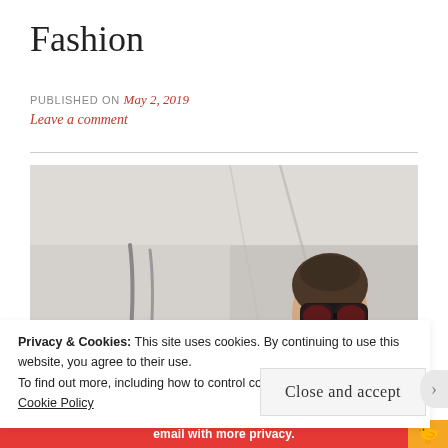Fashion
PUBLISHED ON May 2, 2019
Leave a comment
[Figure (photo): Young woman wearing oversized black sunglasses and dark jacket with red lips, photographed against a light grey wall background. Fashion editorial style photo.]
Privacy & Cookies: This site uses cookies. By continuing to use this website, you agree to their use.
To find out more, including how to control cookies, see here:
Cookie Policy
Close and accept
email with more privacy.